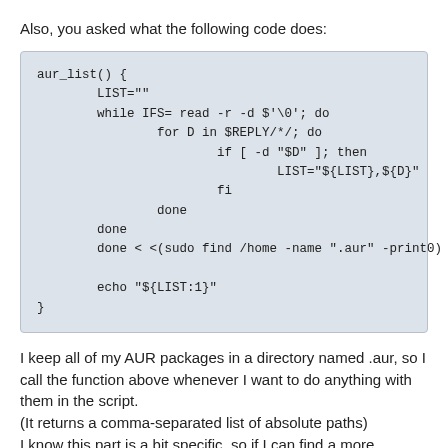Also, you asked what the following code does:
[Figure (other): Code block showing a shell function aur_list() with a while loop reading directories and building a comma-separated LIST variable, then echoing the result.]
I keep all of my AUR packages in a directory named .aur, so I call the function above whenever I want to do anything with them in the script. (It returns a comma-separated list of absolute paths)
I know this part is a bit specific, so if I can find a more standard way to handle AUR packages then I will switch over as soon as possible.
- Mike